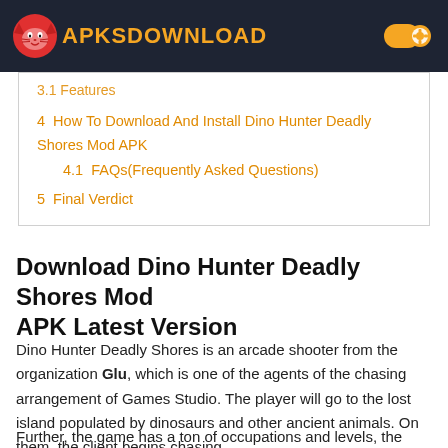APKSDOWNLOAD
3.1 Features
4  How To Download And Install Dino Hunter Deadly Shores Mod APK
4.1  FAQs(Frequently Asked Questions)
5  Final Verdict
Download Dino Hunter Deadly Shores Mod APK Latest Version
Dino Hunter Deadly Shores is an arcade shooter from the organization Glu, which is one of the agents of the chasing arrangement of Games Studio. The player will go to the lost island populated by dinosaurs and other ancient animals. On them, the client begins chasing.
Further, the game has a ton of occupations and levels, the section of which is charged virtual cash. Furthermore, all the cash you can